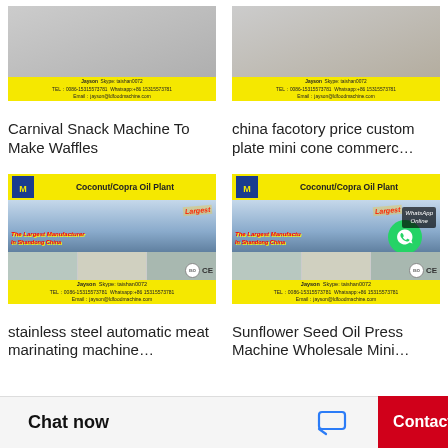[Figure (photo): Product image for Carnival Snack Machine with yellow contact bar showing Jayson Skype taishan0072 contact info]
Carnival Snack Machine To Make Waffles
[Figure (photo): Product image for china factory price custom plate mini cone with yellow contact bar]
china facotory price custom plate mini cone commerc…
[Figure (photo): Coconut/Copra Oil Plant ad - yellow background with machinery photos, The Largest Manufacturer In Shandong China text]
stainless steel automatic meat marinating machine…
[Figure (photo): Coconut/Copra Oil Plant ad with WhatsApp Online overlay - same yellow ad with WhatsApp circle icon]
Sunflower Seed Oil Press Machine Wholesale Mini…
Chat now
Contact Now